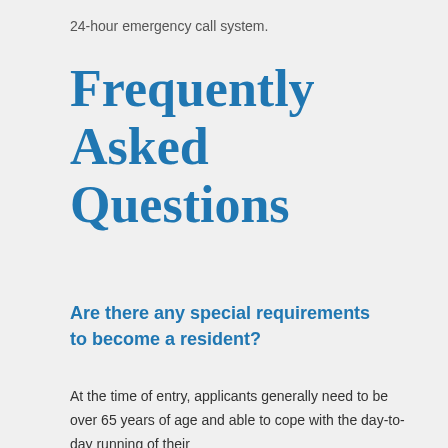24-hour emergency call system.
Frequently Asked Questions
Are there any special requirements to become a resident?
At the time of entry, applicants generally need to be over 65 years of age and able to cope with the day-to-day running of their